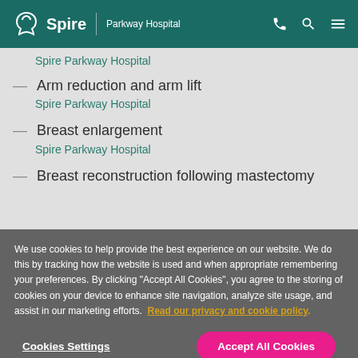Spire | Parkway Hospital
Spire Parkway Hospital
Arm reduction and arm lift
Spire Parkway Hospital
Breast enlargement
Spire Parkway Hospital
Breast reconstruction following mastectomy
We use cookies to help provide the best experience on our website. We do this by tracking how the website is used and when appropriate remembering your preferences. By clicking "Accept All Cookies", you agree to the storing of cookies on your device to enhance site navigation, analyze site usage, and assist in our marketing efforts. Read our privacy and cookie policy
Cookies Settings | Accept All Cookies